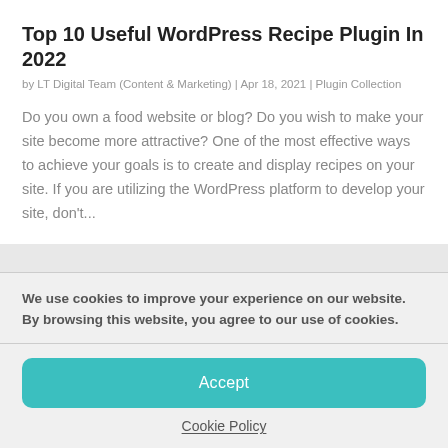Top 10 Useful WordPress Recipe Plugin In 2022
by LT Digital Team (Content & Marketing) | Apr 18, 2021 | Plugin Collection
Do you own a food website or blog? Do you wish to make your site become more attractive? One of the most effective ways to achieve your goals is to create and display recipes on your site. If you are utilizing the WordPress platform to develop your site, don't...
We use cookies to improve your experience on our website. By browsing this website, you agree to our use of cookies.
Accept
Cookie Policy